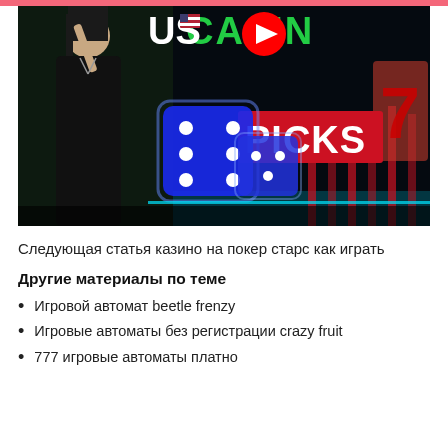[Figure (screenshot): YouTube thumbnail for a casino video titled 'US CASINO PICKS 7' showing a woman in black dress, blue glowing dice, and red neon 7 on a dark background with teal neon accents.]
Следующая статья казино на покер старс как играть
Другие материалы по теме
Игровой автомат beetle frenzy
Игровые автоматы без регистрации crazy fruit
777 игровые автоматы платно